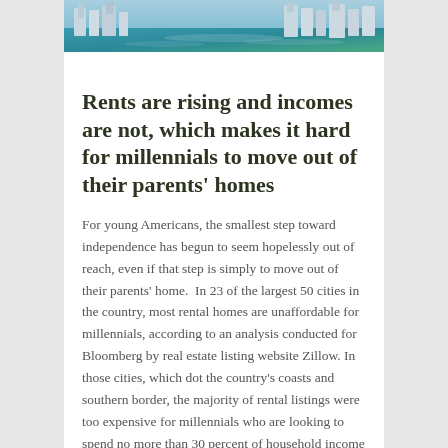[Figure (photo): Aerial photograph of coastal city buildings with turquoise water, likely Miami, showing high-rise condominiums near the waterfront.]
Rents are rising and incomes are not, which makes it hard for millennials to move out of their parents' homes
For young Americans, the smallest step toward independence has begun to seem hopelessly out of reach, even if that step is simply to move out of their parents' home.  In 23 of the largest 50 cities in the country, most rental homes are unaffordable for millennials, according to an analysis conducted for Bloomberg by real estate listing website Zillow. In those cities, which dot the country's coasts and southern border, the majority of rental listings were too expensive for millennials who are looking to spend no more than 30 percent of household income on rent.
The gap between what young people earn and what they pay to rent is widest in Miami, where millennials are priced out of 92 percent of all